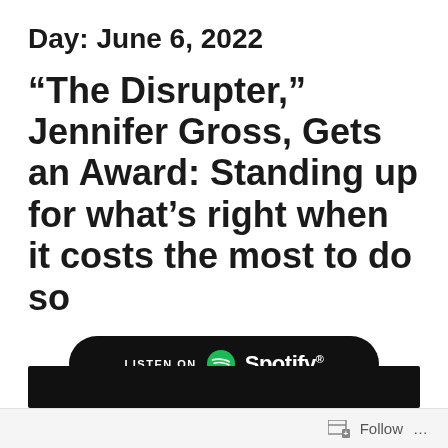Day: June 6, 2022
“The Disrupter,” Jennifer Gross, Gets an Award: Standing up for what’s right when it costs the most to do so
[Figure (logo): Listen on Spotify button — black rounded rectangle with Spotify logo and text]
[Figure (other): Black bar at bottom of content area]
Follow ...